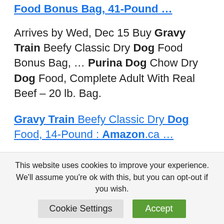Food Bonus Bag, 41-Pound …
Arrives by Wed, Dec 15 Buy Gravy Train Beefy Classic Dry Dog Food Bonus Bag, … Purina Dog Chow Dry Dog Food, Complete Adult With Real Beef – 20 lb. Bag.
Gravy Train Beefy Classic Dry Dog Food, 14-Pound : Amazon.ca …
Find thousands of pet supplies at low prices. Shop online for dog, cat, fish,
This website uses cookies to improve your experience. We'll assume you're ok with this, but you can opt-out if you wish.